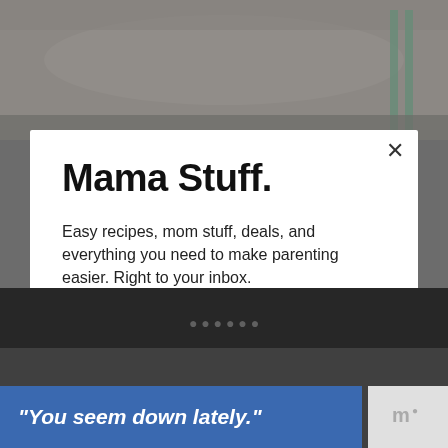[Figure (photo): Background photo of food, partially visible at top]
Mama Stuff.
Easy recipes, mom stuff, deals, and everything you need to make parenting easier. Right to your inbox.
[Figure (screenshot): Email address input field]
[Figure (screenshot): Subscribe button (black background, white text)]
[Figure (photo): Background image at bottom, dark]
“You seem down lately.”
[Figure (logo): WM logo in gray at bottom right]